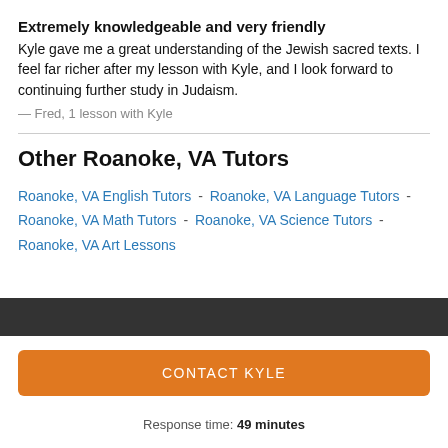Extremely knowledgeable and very friendly
Kyle gave me a great understanding of the Jewish sacred texts. I feel far richer after my lesson with Kyle, and I look forward to continuing further study in Judaism.
— Fred, 1 lesson with Kyle
Other Roanoke, VA Tutors
Roanoke, VA English Tutors - Roanoke, VA Language Tutors - Roanoke, VA Math Tutors - Roanoke, VA Science Tutors - Roanoke, VA Art Lessons
CONTACT KYLE
Response time: 49 minutes